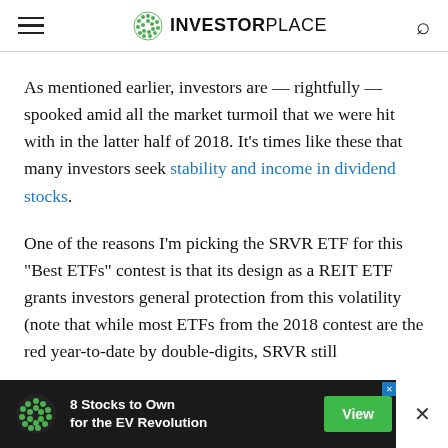INVESTORPLACE
As mentioned earlier, investors are — rightfully — spooked amid all the market turmoil that we were hit with in the latter half of 2018. It's times like these that many investors seek stability and income in dividend stocks.
One of the reasons I'm picking the SRVR ETF for this "Best ETFs" contest is that its design as a REIT ETF grants investors general protection from this volatility (note that while most ETFs from the 2018 contest are the red year-to-date by double-digits, SRVR still
[Figure (other): Advertisement banner: 8 Stocks to Own for the EV Revolution with green View button]